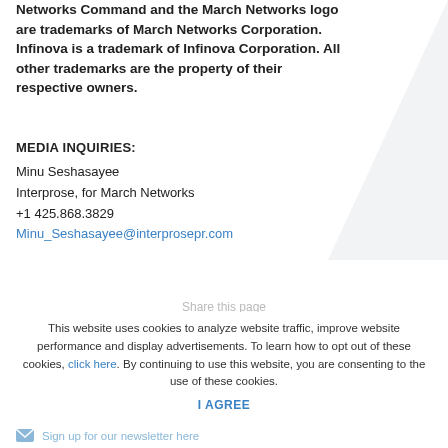Networks Command and the March Networks logo are trademarks of March Networks Corporation. Infinova is a trademark of Infinova Corporation. All other trademarks are the property of their respective owners.
MEDIA INQUIRIES:
Minu Seshasayee
Interprose, for March Networks
+1 425.868.3829
Minu_Seshasayee@interprosepr.com
Share this page
This website uses cookies to analyze website traffic, improve website performance and display advertisements. To learn how to opt out of these cookies, click here. By continuing to use this website, you are consenting to the use of these cookies.
I AGREE
Sign up for our newsletter here